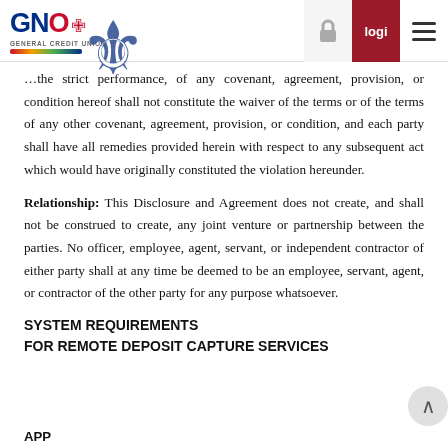GNO General Credit Union — login — navigation header
the strict performance, of any covenant, agreement, provision, or condition hereof shall not constitute the waiver of the terms or of the terms of any other covenant, agreement, provision, or condition, and each party shall have all remedies provided herein with respect to any subsequent act which would have originally constituted the violation hereunder.
Relationship: This Disclosure and Agreement does not create, and shall not be construed to create, any joint venture or partnership between the parties. No officer, employee, agent, servant, or independent contractor of either party shall at any time be deemed to be an employee, servant, agent, or contractor of the other party for any purpose whatsoever.
SYSTEM REQUIREMENTS
FOR REMOTE DEPOSIT CAPTURE SERVICES
APP